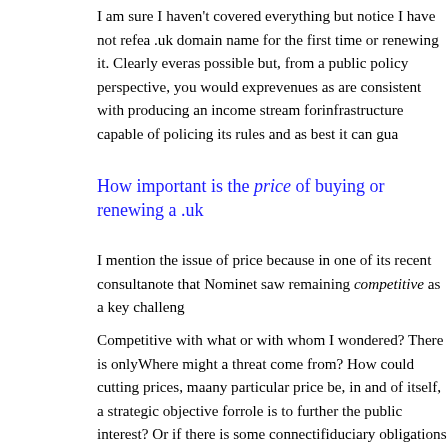I am sure I haven't covered everything but notice I have not ref… a .uk domain name for the first time or renewing it. Clearly ever… as possible but, from a public policy perspective, you would exp… revenues as are consistent with producing an income stream for … infrastructure capable of policing its rules and as best it can gua…
How important is the price of buying or renewing a .uk…
I mention the issue of price because in one of its recent consulta… note that Nominet saw remaining competitive as a key challenge…
Competitive with what or with whom I wondered? There is only … Where might a threat come from? How could cutting prices, ma… any particular price be, in and of itself, a strategic objective for … role is to further the public interest? Or if there is some connecti… fiduciary obligations could they please be explained? The langu… more like that of a company listed on the London Stock Exchan… wrong end of the telescope.